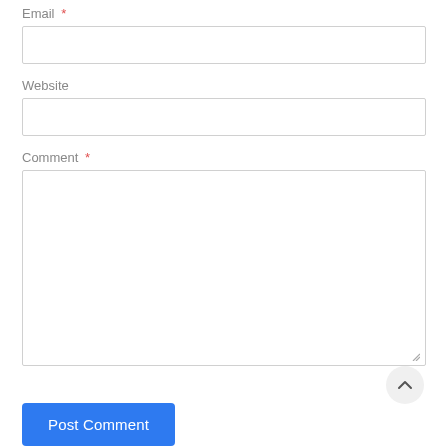Email *
Website
Comment *
Post Comment